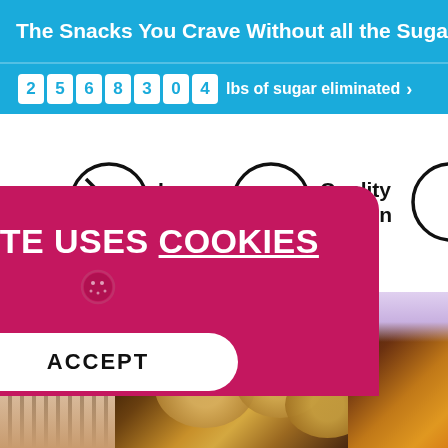The Snacks You Crave Without all the Sugar
2 5 6 8 3 0 4 lbs of sugar eliminated ›
[Figure (screenshot): Website screenshot showing low carb and quality protein feature icons with circular badge icons]
THIS SITE USES COOKIES
ACCEPT
[Figure (photo): Bottom strip showing person in striped shirt on left, cookies with chocolate chips in center, chocolate caramel dessert on right]